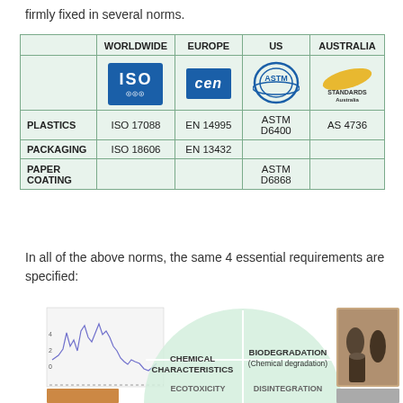firmly fixed in several norms.
|  | WORLDWIDE | EUROPE | US | AUSTRALIA |
| --- | --- | --- | --- | --- |
|  | [ISO logo] | [CEN logo] | [ASTM logo] | [Standards Australia logo] |
| PLASTICS | ISO 17088 | EN 14995 | ASTM D6400 | AS 4736 |
| PACKAGING | ISO 18606 | EN 13432 |  |  |
| PAPER COATING |  |  | ASTM D6868 |  |
In all of the above norms, the same 4 essential requirements are specified:
[Figure (infographic): Infographic showing 4 essential requirements: Chemical Characteristics, Biodegradation (Chemical degradation), Ecotoxicity, Disintegration, with associated photos and a spectrum chart on the left.]